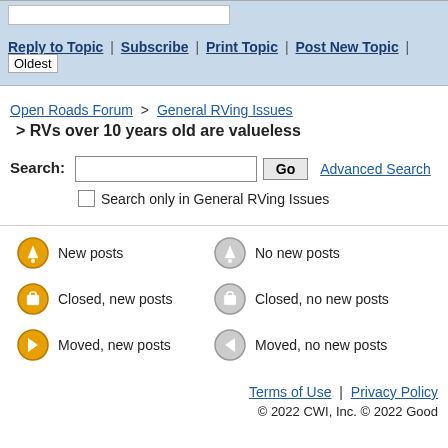[Figure (screenshot): Top search bar with light blue background and white input field]
Reply to Topic | Subscribe | Print Topic | Post New Topic | Oldest
Open Roads Forum > General RVing Issues > RVs over 10 years old are valueless
Search: [input] Go  Advanced Search
Search only in General RVing Issues
New posts
No new posts
Closed, new posts
Closed, no new posts
Moved, new posts
Moved, no new posts
Terms of Use | Privacy Policy
© 2022 CWI, Inc. © 2022 Good